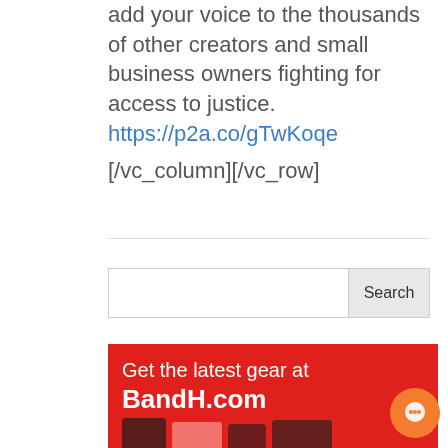add your voice to the thousands of other creators and small business owners fighting for access to justice. https://p2a.co/gTwKoqe
[/vc_column][/vc_row]
[Figure (screenshot): Search bar with input field and Search button]
[Figure (illustration): Red advertisement banner for BandH.com with text 'Get the latest gear at BandH.com' and camera images at the bottom]
[Figure (other): Orange circular chat bubble icon on the right side]